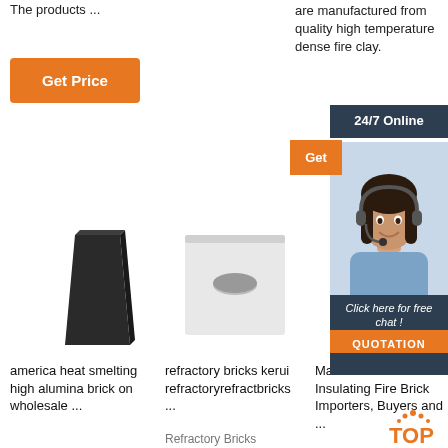The products ...
are manufactured from quality high temperature dense fire clay.
[Figure (other): Orange 'Get Price' button]
[Figure (other): 24/7 Online chat banner with agent photo, 'Click here for free chat!' text, and orange QUOTATION button]
[Figure (photo): Black high alumina brick product photo]
[Figure (photo): White refractory brick with hole product photo]
america heat smelting high alumina brick on wholesale ...
refractory bricks kerui refractoryrefractbriks ...
Refractory Bricks
Made in China Insulating Fire Brick Importers, Buyers and ...